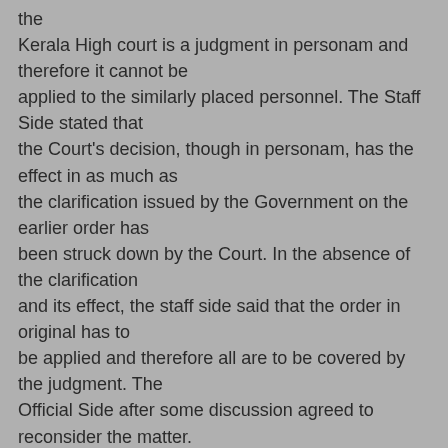the Kerala High court is a judgment in personam and therefore it cannot be applied to the similarly placed personnel. The Staff Side stated that the Court's decision, though in personam, has the effect in as much as the clarification issued by the Government on the earlier order has been struck down by the Court. In the absence of the clarification and its effect, the staff side said that the order in original has to be applied and therefore all are to be covered by the judgment. The Official Side after some discussion agreed to reconsider the matter. 2.Item No.5,11,16 and 23. Extension of benefit of upgraded pay scale in organized Accounts service for the pensioners notionally with effect from 1.1.1996.